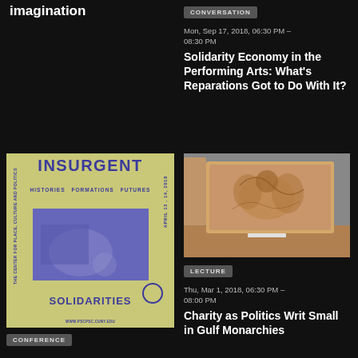imagination
CONVERSATION
Mon, Sep 17, 2018, 06:30 PM – 08:30 PM
Solidarity Economy in the Performing Arts: What's Reparations Got to Do With It?
[Figure (photo): Poster for Insurgent Solidarities conference — Histories, Formations, Futures, April 13-14, 2018, by The Center for Place, Culture and Politics]
CONFERENCE
[Figure (photo): Photo of a terracotta or stone relief sculpture on display in a museum, showing carved figures]
LECTURE
Thu, Mar 1, 2018, 06:30 PM – 08:00 PM
Charity as Politics Writ Small in Gulf Monarchies